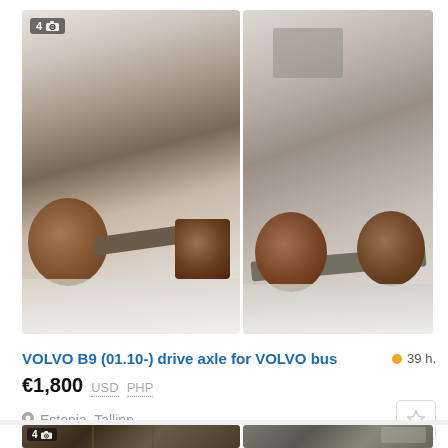[Figure (photo): Three photos of a Volvo bus drive axle, rusty metal parts on snowy ground, shown from different angles. First image has a badge showing '4' photos and a camera icon.]
VOLVO B9 (01.10-) drive axle for VOLVO bus
39 h.
€1,800  USD  PHP
Estonia, Tallinn
[Figure (photo): Two photos of heavy truck axle parts placed in wooden crates/frames on a workshop floor.]